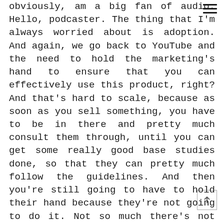obviously, am a big fan of audio. Hello, podcaster. The thing that I'm always worried about is adoption. And again, we go back to YouTube and the need to hold the marketing's hand to ensure that you can effectively use this product, right? And that's hard to scale, because as soon as you sell something, you have to be in there and pretty much consult them through, until you can get some really good base studies done, so that they can pretty much follow the guidelines. And then you're still going to have to hold their hand because they're not going to do it. Not so much there's not much market validation out there other than McDonald's stinker, nobody else, I mean, we're not really seeing anybody else doing this to an extent from a competition standpoint. But, I think mobile personally will be the driver of a product like this. Mobile, I believe is going to be the driver of this, especially Google Assistant, not the Google home per se, but the actual mobile app, voice is going to be even bigger. Overall, this is also a big vanity play for a brand and it's people, if they can hear